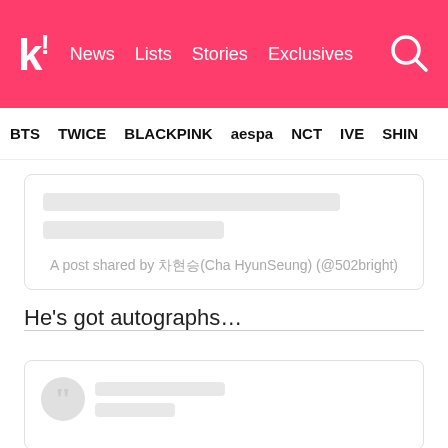k! News | Lists | Stories | Exclusives
BTS | TWICE | BLACKPINK | aespa | NCT | IVE | SHINe
[Figure (screenshot): Embedded social media post (Instagram) with skeleton loading lines and caption: A post shared by 차현승(Cha HyunSeung) (@502bright)]
He's got autographs…
[Figure (screenshot): Embedded social media blockquote card with avatar showing quotation mark and two skeleton loading lines]